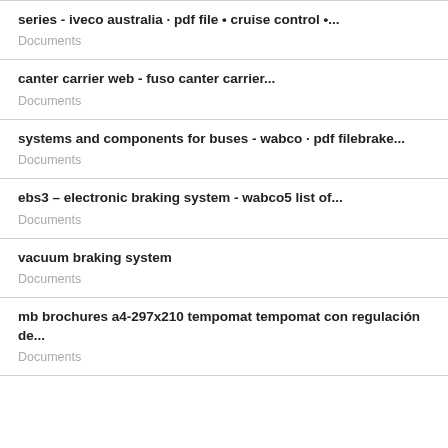series - iveco australia · pdf file • cruise control •...
Documents
canter carrier web - fuso canter carrier...
Documents
systems and components for buses - wabco · pdf filebrake...
Documents
ebs3 – electronic braking system - wabco5 list of...
Documents
vacuum braking system
Documents
mb brochures a4-297x210 tempomat tempomat con regulación de...
Documents